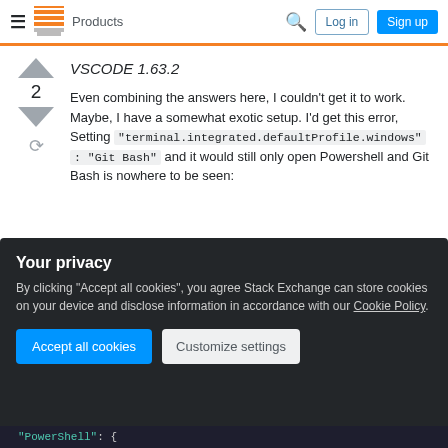Stack Overflow — Products | Log in | Sign up
VSCODE 1.63.2
Even combining the answers here, I couldn't get it to work. Maybe, I have a somewhat exotic setup. I'd get this error, Setting "terminal.integrated.defaultProfile.windows": "Git Bash" and it would still only open Powershell and Git Bash is nowhere to be seen:
[Figure (screenshot): VSCode Problems panel showing a settings.json file with an error: Value is not accepted. Valid values: 'PowerShell', 'Command Prompt', 'JavaScript Debug Terminal'.]
Your privacy
By clicking "Accept all cookies", you agree Stack Exchange can store cookies on your device and disclose information in accordance with our Cookie Policy.
"PowerShell": {